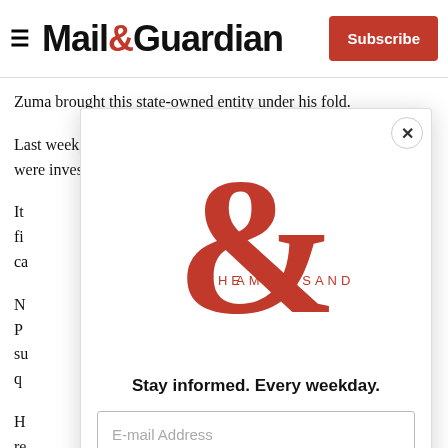Mail&Guardian | Subscribe
Zuma brought this state-owned entity under his fold.
Last week, SAA chair Dudu Myeni confirmed that the Hawks were investigating the airline's financial affairs.
It... fi... ca...
N... P... su... q...
H... re... o...
[Figure (other): Mail & Guardian newsletter signup modal overlay featuring 'The Ampersand' logo in red, tagline 'Stay informed. Every weekday.', an email address input field, and a red 'Signup now' button. A close (X) button is in the top-right corner.]